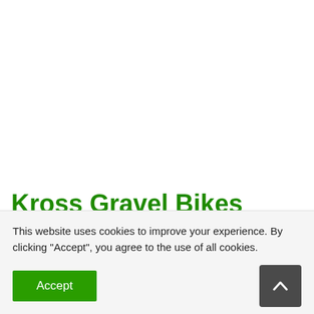Kross Gravel Bikes 2022 – Prices, Weight, Equipment and
This website uses cookies to improve your experience. By clicking "Accept", you agree to the use of all cookies.
Accept